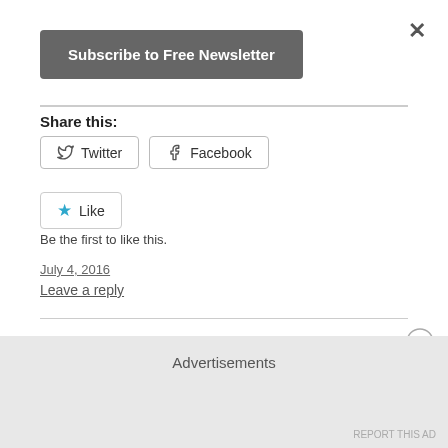×
Subscribe to Free Newsletter
Share this:
Twitter  Facebook
★ Like
Be the first to like this.
July 4, 2016
Leave a reply
Advertisements
REPORT THIS AD